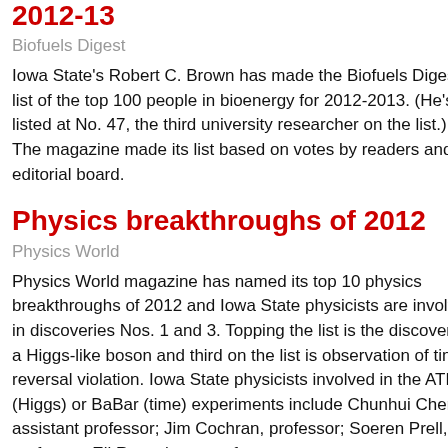2012-13
Biofuels Digest
Iowa State's Robert C. Brown has made the Biofuels Digest list of the top 100 people in bioenergy for 2012-2013. (He's listed at No. 47, the third university researcher on the list.) The magazine made its list based on votes by readers and its editorial board.
Physics breakthroughs of 2012
Physics World
Physics World magazine has named its top 10 physics breakthroughs of 2012 and Iowa State physicists are involved in discoveries Nos. 1 and 3. Topping the list is the discovery of a Higgs-like boson and third on the list is observation of time-reversal violation. Iowa State physicists involved in the ATLAS (Higgs) or BaBar (time) experiments include Chunhui Chen, assistant professor; Jim Cochran, professor; Soeren Prell, professor; Eli Rosenberg, professor;